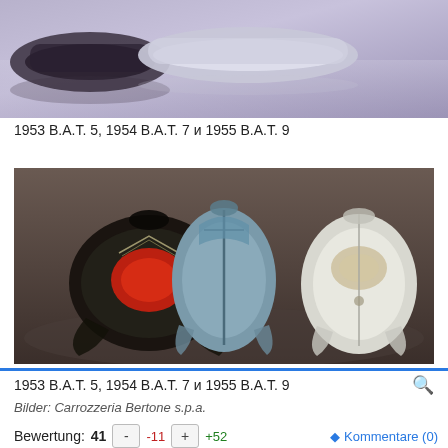[Figure (photo): Top portion of photo showing three futuristic Alfa Romeo B.A.T. concept cars from the 1950s on a reflective surface, silver/gray tones]
1953 B.A.T. 5, 1954 B.A.T. 7 и 1955 B.A.T. 9
[Figure (photo): Aerial/top-down view of three Alfa Romeo B.A.T. concept cars side by side: dark/black (B.A.T. 5 with red interior visible), blue-gray (B.A.T. 7), and silver/white (B.A.T. 9), on gray background]
1953 B.A.T. 5, 1954 B.A.T. 7 и 1955 B.A.T. 9
Bilder: Carrozzeria Bertone s.p.a.
Bewertung:  41    -    -11    +    +52    ◆ Kommentare (0)